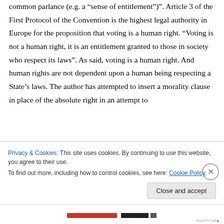common parlance (e.g. a “sense of entitlement”)”. Article 3 of the First Protocol of the Convention is the highest legal authority in Europe for the proposition that voting is a human right. “Voting is not a human right, it is an entitlement granted to those in society who respect its laws”. As said, voting is a human right. And human rights are not dependent upon a human being respecting a State’s laws. The author has attempted to insert a morality clause in place of the absolute right in an attempt to
Privacy & Cookies: This site uses cookies. By continuing to use this website, you agree to their use.
To find out more, including how to control cookies, see here: Cookie Policy